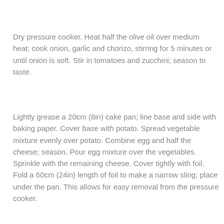Dry pressure cooker. Heat half the olive oil over medium heat; cook onion, garlic and chorizo, stirring for 5 minutes or until onion is soft. Stir in tomatoes and zucchini; season to taste.
Lightly grease a 20cm (8in) cake pan; line base and side with baking paper. Cover base with potato. Spread vegetable mixture evenly over potato. Combine egg and half the cheese; season. Pour egg mixture over the vegetables. Sprinkle with the remaining cheese. Cover tightly with foil. Fold a 60cm (24in) length of foil to make a narrow sling; place under the pan. This allows for easy removal from the pressure cooker.